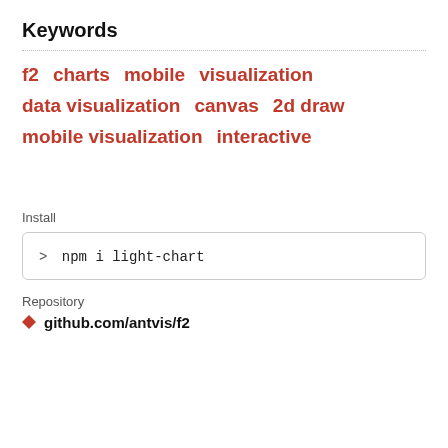Keywords
f2  charts  mobile  visualization
data visualization  canvas  2d draw
mobile visualization  interactive
Install
> npm i light-chart
Repository
github.com/antvis/f2